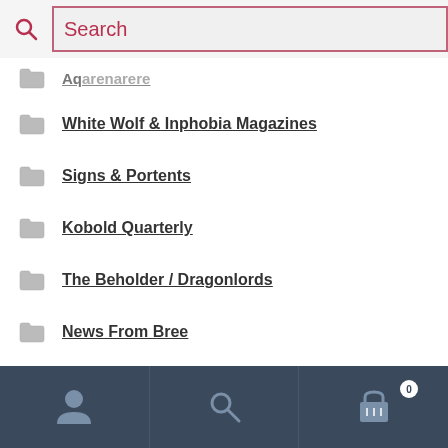Search
Aq...
White Wolf & Inphobia Magazines
Signs & Portents
Kobold Quarterly
The Beholder / Dragonlords
News From Bree
Oubliette
KA*GE
Warpstone
Level Up
User | Search | Cart (0)